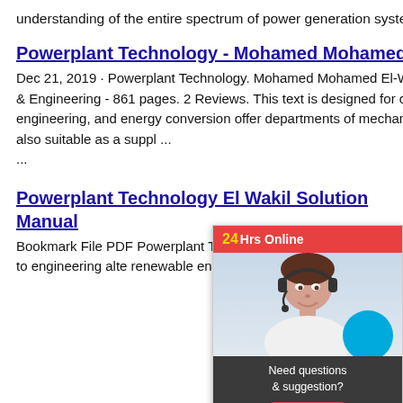understanding of the entire spectrum of power generation systems.
Powerplant Technology - Mohamed Mohamed El-Wakil -
Dec 21, 2019 · Powerplant Technology. Mohamed Mohamed El-Wakil. McGraw-Hill, 1984 - Technology & Engineering - 861 pages. 2 Reviews. This text is designed for courses in powerplant technology, power engineering, and energy conversion offered in departments of mechanical engineering and engineering. It is also suitable as a suppl ...
Powerplant Technology El Wakil Solution Manual
Bookmark File PDF Powerplant Technology Solution Manual Nuclear Heat Transport comprehensive guide to engineering alternative renewable energy systems and applications ...
[Figure (screenshot): Customer support chat widget overlay showing a female customer service agent with headset, red header with '24Hrs Online' text in yellow, dark gray body with 'Need questions & suggestion?' text, a red 'Chat Now' button, and a red 'Enquire' footer bar.]